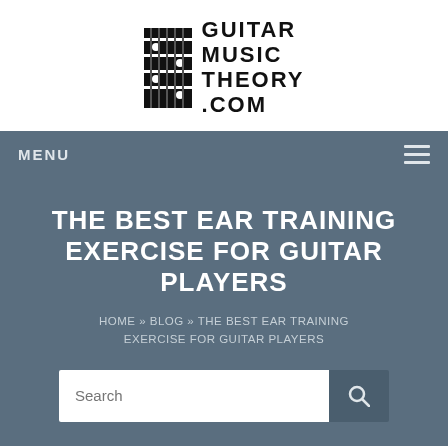[Figure (logo): Guitar Music Theory .com logo with grid/fretboard icon on the left and bold uppercase text on the right]
MENU
THE BEST EAR TRAINING EXERCISE FOR GUITAR PLAYERS
HOME » BLOG » THE BEST EAR TRAINING EXERCISE FOR GUITAR PLAYERS